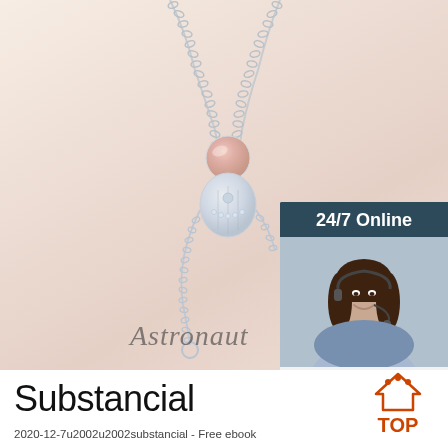[Figure (photo): Silver astronaut pendant necklace on beige/cream background, with chain visible and a small star charm. Cursive 'Astronaut' text watermark at bottom. Inset 24/7 Online customer service widget in top right showing a woman with headset, 'Click here for free chat!' text, and orange QUOTATION button.]
Substancial
2020-12-7u2002u2002substancial - Free ebook